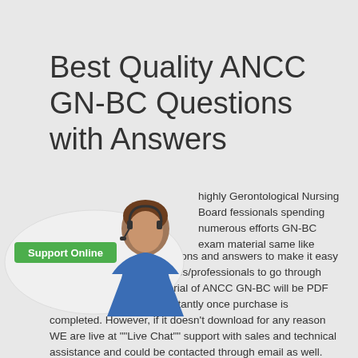Best Quality ANCC GN-BC Questions with Answers
[Figure (illustration): Support Online widget showing a woman with headset and a green 'Support Online' label on an oval background]
highly Gerontological Nursing Board fessionals spending numerous efforts GN-BC exam material same like actual ANCC GN-BC questions and answers to make it easy for ANCC GN-BC candidates/professionals to go through their final exam. Our material of ANCC GN-BC will be PDF file which will download instantly once purchase is completed. However, if it doesn't download for any reason WE are live at ""Live Chat"" support with sales and technical assistance and could be contacted through email as well. ANCC GN-BC Gerontological Nursing Board Certification isn't tough to pass if you use our Gerontological Nursing Board Certification PDF